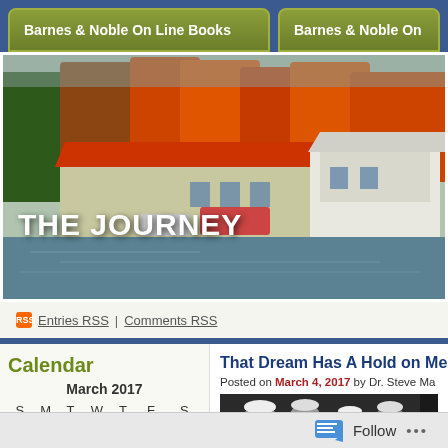Barnes & Noble On Line Books | Barnes & Noble On
[Figure (photo): Hero banner photo showing a building with red/orange autumn trees reflected in a lake, with white text overlay reading THE JOURNEY]
THE JOURNEY
Entries RSS | Comments RSS
Calendar
| S | M | T | W | T | F | S |
| --- | --- | --- | --- | --- | --- | --- |
|  |  |  | 1 | 2 | 3 | 4 |
| 5 | 6 | 7 | 8 | 9 | 10 | 11 |
That Dream Has A Hold on Me
Posted on March 4, 2017 by Dr. Steve Ma
[Figure (photo): Black and white photograph showing people, partially visible]